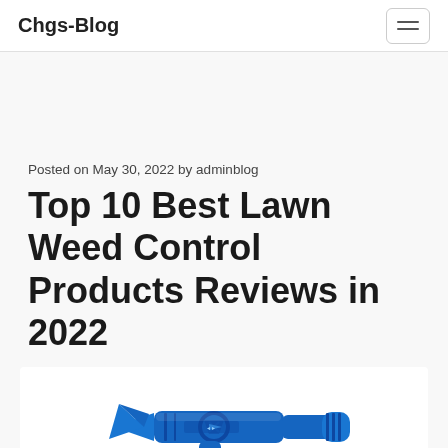Chgs-Blog
Posted on May 30, 2022 by adminblog
Top 10 Best Lawn Weed Control Products Reviews in 2022
[Figure (photo): Blue plastic lawn sprayer attachment/nozzle device photographed against white background]